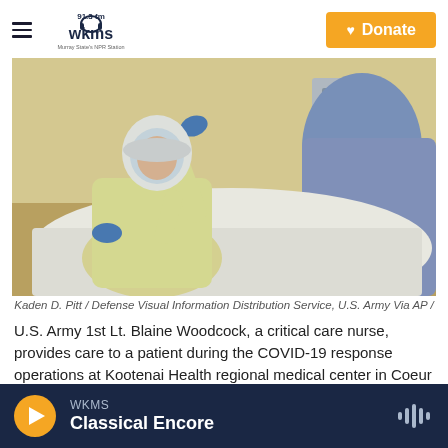WKMS 91.3 fm — Murray State's NPR Station | Donate
[Figure (photo): A U.S. Army soldier in full PPE including helmet and face shield and yellow gown and blue gloves leans over a patient in a hospital bed covered with white and blue sheets in a medical facility setting.]
Kaden D. Pitt / Defense Visual Information Distribution Service, U.S. Army Via AP /
U.S. Army 1st Lt. Blaine Woodcock, a critical care nurse, provides care to a patient during the COVID-19 response operations at Kootenai Health regional medical center in Coeur d'Alene, Idaho, on Sept. 6.
WKMS — Classical Encore